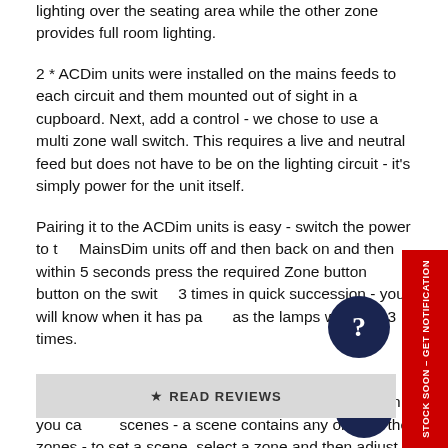lighting over the seating area while the other zone provides full room lighting.
2 * ACDim units were installed on the mains feeds to each circuit and them mounted out of sight in a cupboard. Next, add a control - we chose to use a multi zone wall switch. This requires a live and neutral feed but does not have to be on the lighting circuit - it's simply power for the unit itself.
Pairing it to the ACDim units is easy - switch the power to the MainsDim units off and then back on and then within 5 seconds press the required Zone button button on the switch 3 times in quick succession - you will know when it has paired as the lamps will flash 3 times.
To allow full zonal control, you will need to set each zone separately - once the zones have been set then you can set scenes - a scene contains any or all of the zones - to set a scene, select a zone and then adjust the lighting to the level you require and then give a long press to the scene button you would like to assign - repeat the same process for all zones that you want part of the scene button will then...